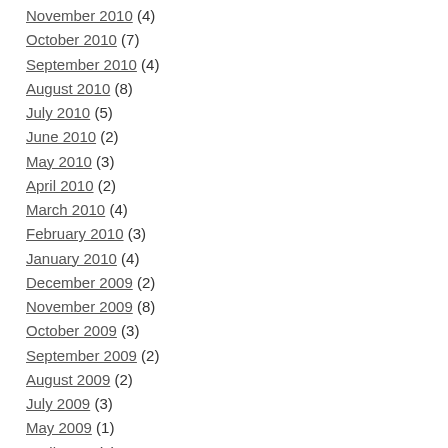November 2010 (4)
October 2010 (7)
September 2010 (4)
August 2010 (8)
July 2010 (5)
June 2010 (2)
May 2010 (3)
April 2010 (2)
March 2010 (4)
February 2010 (3)
January 2010 (4)
December 2009 (2)
November 2009 (8)
October 2009 (3)
September 2009 (2)
August 2009 (2)
July 2009 (3)
May 2009 (1)
April 2009 (2)